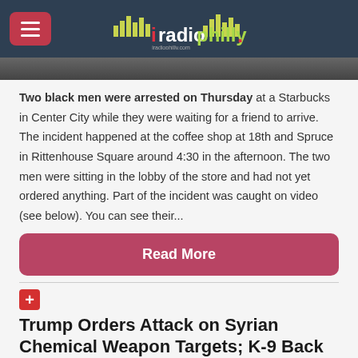iradiophilly
[Figure (photo): Dark photo strip, partial image of people]
Two black men were arrested on Thursday at a Starbucks in Center City while they were waiting for a friend to arrive. The incident happened at the coffee shop at 18th and Spruce in Rittenhouse Square around 4:30 in the afternoon. The two men were sitting in the lobby of the store and had not yet ordered anything. Part of the incident was caught on video (see below). You can see their...
Read More
Trump Orders Attack on Syrian Chemical Weapon Targets; K-9 Back w/ Family; ACCT Philly Director Out